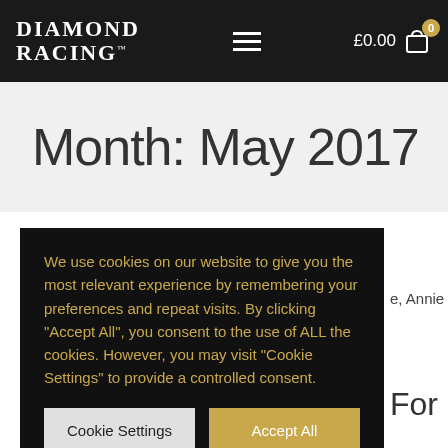Diamond Racing™  ≡  £0.00 🛒 0
Month: May 2017
[Figure (screenshot): Cookie consent overlay on dark background with text: 'We use cookies on our website to give you the most relevant experience by remembering your preferences and repeat visits. By clicking "Accept All", you consent to the use of ALL the cookies. However, you may visit "Cookie Settings" to provide a controlled consent.' with two buttons: 'Cookie Settings' and 'Accept All']
e, Annie Power is
For
News / By Christian Morgan